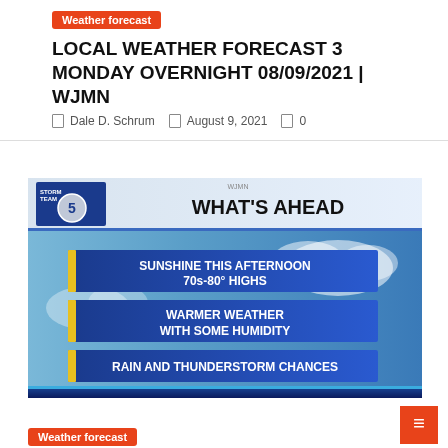Weather forecast
LOCAL WEATHER FORECAST 3 MONDAY OVERNIGHT 08/09/2021 | WJMN
Dale D. Schrum   August 9, 2021   0
[Figure (screenshot): TV weather broadcast screenshot showing 'WHAT'S AHEAD' graphic with three bullet points: SUNSHINE THIS AFTERNOON 70s-80° HIGHS, WARMER WEATHER WITH SOME HUMIDITY, RAIN AND THUNDERSTORM CHANCES]
Weather forecast